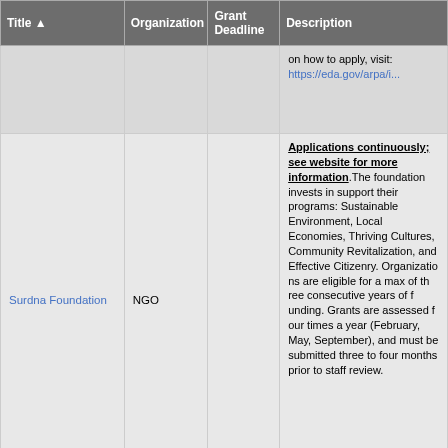| Title ▲ | Organization | Grant Deadline | Description |
| --- | --- | --- | --- |
|  |  |  | on how to apply, visit: https://eda.gov/arpa/i... |
| Surdna Foundation | NGO |  | Applications continuously; see w... more information. The foundation invests in support their program... Sustainable Environm... Local Economies, Th... Cultures, Community Revitalization, and Ef... Citizenry. Organizatio... eligible for a max of th... consecutive years of... Grants are assessed... year (February, May, September), and mus... submitted three to fo... prior to staff review. |
|  |  |  | The U.S. Environmen... |